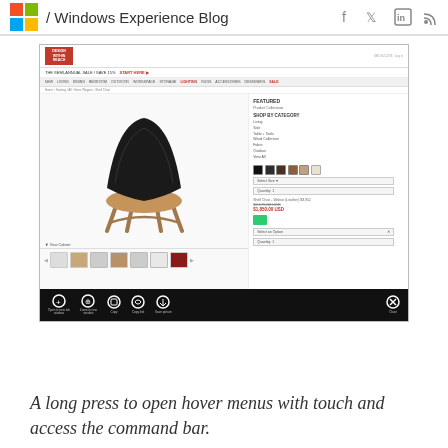/ Windows Experience Blog
[Figure (screenshot): Screenshot of Design Within Reach website showing a Shell Chair product page with a chair image, color swatches, pricing, and thumbnails. Below the screenshot is a black Windows touch bar with open, zoom, copy, copy link, save picture, and close buttons.]
A long press to open hover menus with touch and access the command bar.